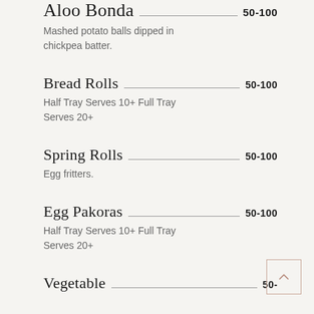Aloo Bonda — 50-100
Mashed potato balls dipped in chickpea batter.
Bread Rolls — 50-100
Half Tray Serves 10+ Full Tray Serves 20+
Spring Rolls — 50-100
Egg fritters.
Egg Pakoras — 50-100
Half Tray Serves 10+ Full Tray Serves 20+
Vegetable — 50-